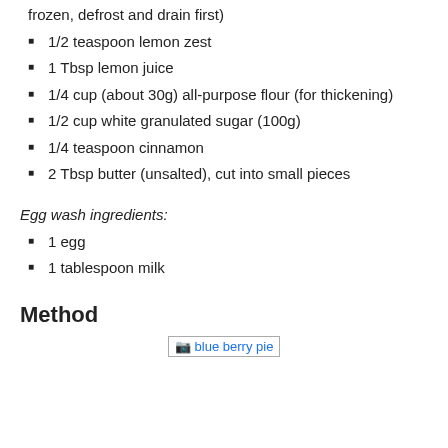frozen, defrost and drain first)
1/2 teaspoon lemon zest
1 Tbsp lemon juice
1/4 cup (about 30g) all-purpose flour (for thickening)
1/2 cup white granulated sugar (100g)
1/4 teaspoon cinnamon
2 Tbsp butter (unsalted), cut into small pieces
Egg wash ingredients:
1 egg
1 tablespoon milk
Method
[Figure (photo): blue berry pie image placeholder]